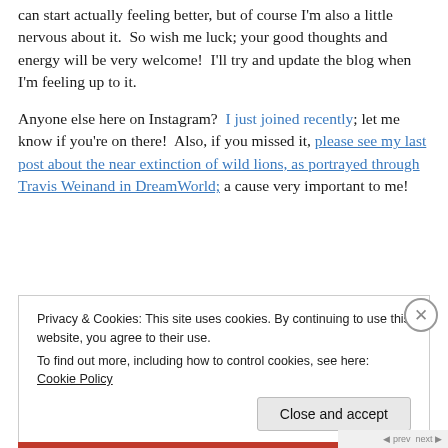can start actually feeling better, but of course I'm also a little nervous about it.  So wish me luck; your good thoughts and energy will be very welcome!  I'll try and update the blog when I'm feeling up to it.
Anyone else here on Instagram?  I just joined recently; let me know if you're on there!  Also, if you missed it, please see my last post about the near extinction of wild lions, as portrayed through Travis Weinand in DreamWorld; a cause very important to me!
Privacy & Cookies: This site uses cookies. By continuing to use this website, you agree to their use. To find out more, including how to control cookies, see here: Cookie Policy
Close and accept